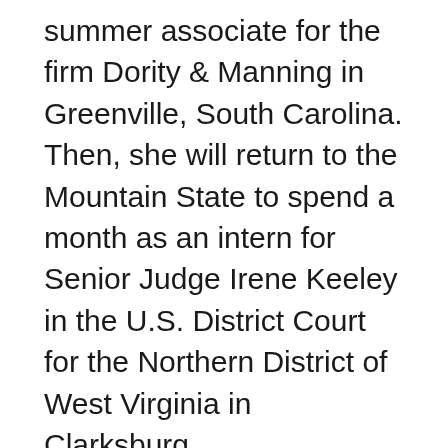summer associate for the firm Dority & Manning in Greenville, South Carolina. Then, she will return to the Mountain State to spend a month as an intern for Senior Judge Irene Keeley in the U.S. District Court for the Northern District of West Virginia in Clarksburg.
“I am interested in a career as a patent attorney because I have a technical background, and I am patent-bar eligible. I applied to Dority & Manning after reviewing the work they did with biotech and pharmaceutical...